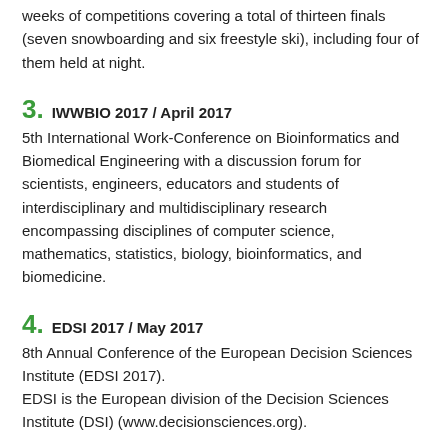weeks of competitions covering a total of thirteen finals (seven snowboarding and six freestyle ski), including four of them held at night.
3.  IWWBIO 2017 / April 2017
5th International Work-Conference on Bioinformatics and Biomedical Engineering with a discussion forum for scientists, engineers, educators and students of interdisciplinary and multidisciplinary research encompassing disciplines of computer science, mathematics, statistics, biology, bioinformatics, and biomedicine.
4.  EDSI 2017 / May 2017
8th Annual Conference of the European Decision Sciences Institute (EDSI 2017).
EDSI is the European division of the Decision Sciences Institute (DSI) (www.decisionsciences.org).
5.  EASP 2017 / July 2017
18th General Meeting of the European Association of Social